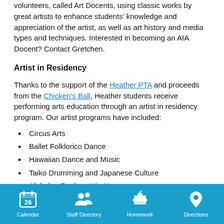volunteers, called Art Docents, using classic works by great artists to enhance students' knowledge and appreciation of the artist, as well as art history and media types and techniques. Interested in becoming an AIA Docent? Contact Gretchen.
Artist in Residency
Thanks to the support of the Heather PTA and proceeds from the Chicken's Ball, Heather students receive performing arts education through an artist in residency program. Our artist programs have included:
Circus Arts
Ballet Folklorico Dance
Hawaiian Dance and Music
Taiko Drumming and Japanese Culture
Alphabet Rockers Hip Hop
Danny G's, Raps, Rhymes, and Movement
Danny G, preschool, (funded by SMARTE preschool)
Calendar  Staff Directory  Homework  Directions